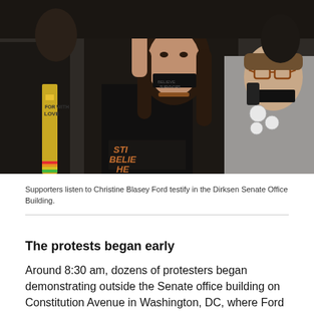[Figure (photo): Protesters at the Dirksen Senate Office Building listening to Christine Blasey Ford testify. Two women in the foreground have black tape over their mouths. One wears a shirt reading 'Still Believe Her', holds her hand up with writing on palm, and wears a choker necklace. Another woman in a grey sweater holds a phone to her ear and wears button pins. A person in the background wears a stole reading 'For With Love'.]
Supporters listen to Christine Blasey Ford testify in the Dirksen Senate Office Building.
The protests began early
Around 8:30 am, dozens of protesters began demonstrating outside the Senate office building on Constitution Avenue in Washington, DC, where Ford was set to testify.